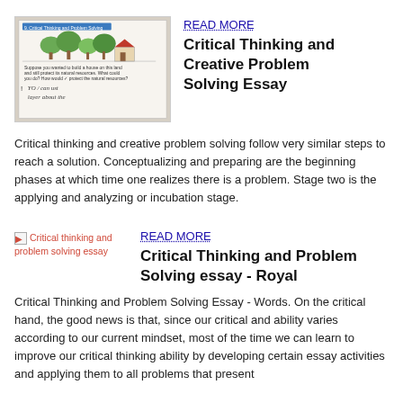[Figure (photo): A scanned worksheet page showing a question about building a house on land and protecting natural resources, with handwritten student answers.]
Critical Thinking and Creative Problem Solving Essay
Critical thinking and creative problem solving follow very similar steps to reach a solution. Conceptualizing and preparing are the beginning phases at which time one realizes there is a problem. Stage two is the applying and analyzing or incubation stage.
[Figure (photo): Broken image placeholder labeled 'Critical thinking and problem solving essay']
Critical Thinking and Problem Solving essay - Royal
Critical Thinking and Problem Solving Essay - Words. On the critical hand, the good news is that, since our critical and ability varies according to our current mindset, most of the time we can learn to improve our critical thinking ability by developing certain essay activities and applying them to all problems that present